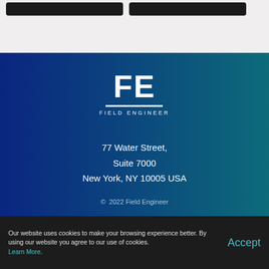[Figure (logo): FE Field Engineer logo — bold white FE letters with double horizontal lines and 'FIELD ENGINEER' text below, on blue-teal gradient background]
77 Water Street,
Suite 7000
New York, NY 10005 USA
© 2022 Field Engineer
Our website uses cookies to make your browsing experience better. By using our website you agree to our use of cookies. Learn More.
Accept